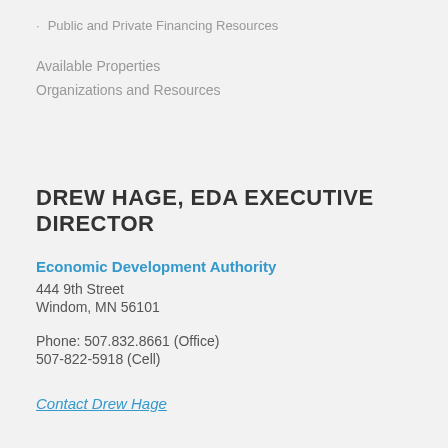Public and Private Financing Resources
Available Properties
Organizations and Resources
DREW HAGE, EDA EXECUTIVE DIRECTOR
Economic Development Authority
444 9th Street
Windom, MN 56101
Phone: 507.832.8661 (Office)
507-822-5918 (Cell)
Contact Drew Hage